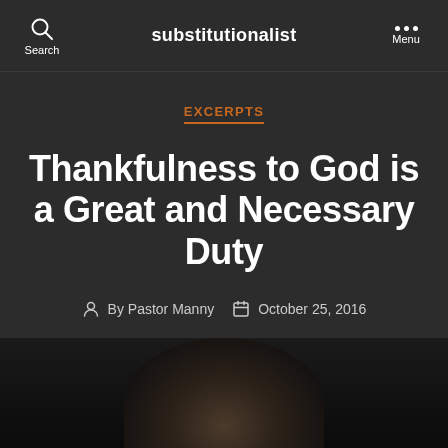substitutionalist
EXCERPTS
Thankfulness to God is a Great and Necessary Duty
By Pastor Manny   October 25, 2016
[Figure (photo): Dark portrait photograph of a person, partially visible at the bottom of the page]